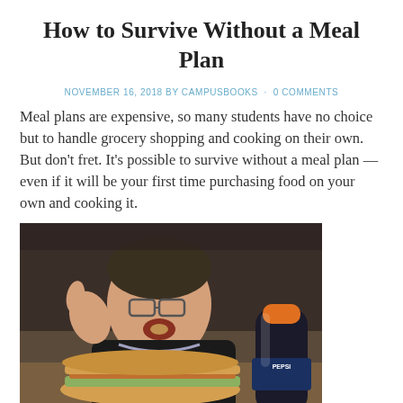How to Survive Without a Meal Plan
NOVEMBER 16, 2018 BY CAMPUSBOOKS · 0 COMMENTS
Meal plans are expensive, so many students have no choice but to handle grocery shopping and cooking on their own. But don't fret. It's possible to survive without a meal plan — even if it will be your first time purchasing food on your own and cooking it.
[Figure (photo): Young man giving a thumbs up with food in his mouth, sitting in front of a large sandwich and a bottle of Pepsi]